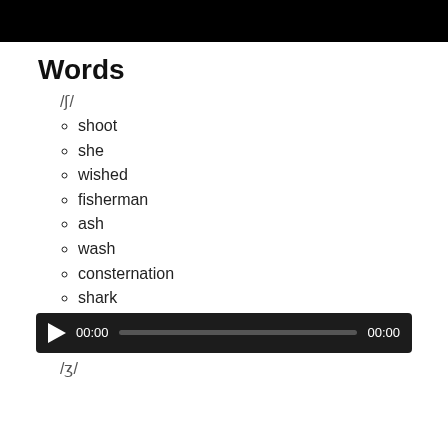[Figure (other): Black bar at top of page (video/image placeholder)]
Words
/ʃ/
shoot
she
wished
fisherman
ash
wash
consternation
shark
[Figure (other): Audio player widget showing 00:00 timestamp and progress bar]
/ʒ/